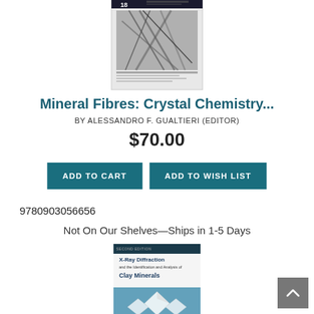[Figure (photo): Book cover of Mineral Fibres: Crystal Chemistry, partially visible at top, showing black and white image of mineral fibres with number 18 visible]
Mineral Fibres: Crystal Chemistry...
BY ALESSANDRO F. GUALTIERI (EDITOR)
$70.00
ADD TO CART
ADD TO WISH LIST
9780903056656
Not On Our Shelves—Ships in 1-5 Days
[Figure (photo): Book cover of X-Ray Diffraction and the Identification and Analysis of Clay Minerals, Second Edition, by Brian H. Velde and Robert C. Reynolds Jr., showing blue geometric crystal shapes on cover]